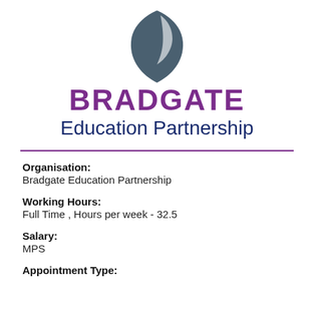[Figure (logo): Bradgate Education Partnership shield logo - dark blue/grey shield shape with a white leaf or crescent accent]
BRADGATE Education Partnership
Organisation: Bradgate Education Partnership
Working Hours: Full Time , Hours per week - 32.5
Salary: MPS
Appointment Type: